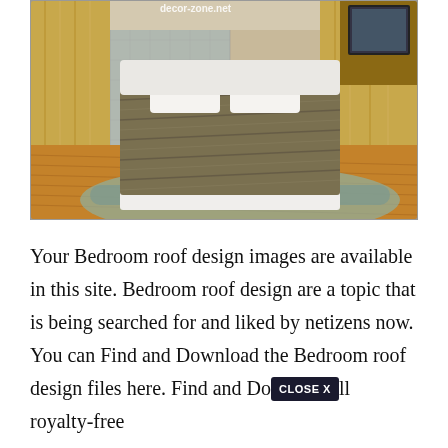[Figure (photo): Interior bedroom photo showing a modern bedroom with a large platform bed with a woven dark bedspread, golden/beige curtains, hardwood floor, a curved stepped platform around the bed, and a TV unit in the top right corner. Text 'decor-zone.net' watermark visible at top.]
Your Bedroom roof design images are available in this site. Bedroom roof design are a topic that is being searched for and liked by netizens now. You can Find and Download the Bedroom roof design files here. Find and Download all royalty-free